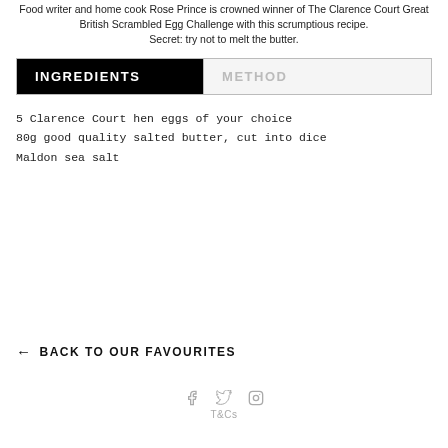Food writer and home cook Rose Prince is crowned winner of The Clarence Court Great British Scrambled Egg Challenge with this scrumptious recipe. Secret: try not to melt the butter.
INGREDIENTS | METHOD
5 Clarence Court hen eggs of your choice
80g good quality salted butter, cut into dice
Maldon sea salt
← BACK TO OUR FAVOURITES
f  twitter  instagram  T&Cs